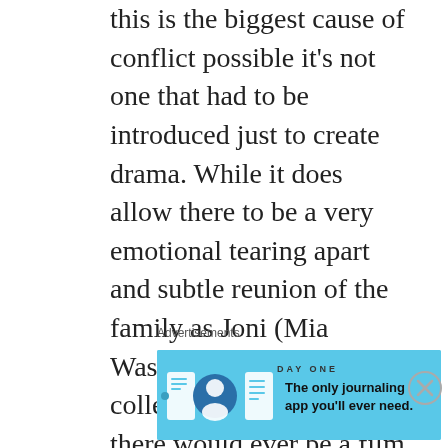this is the biggest cause of conflict possible it's not one that had to be introduced just to create drama. While it does allow there to be a very emotional tearing apart and subtle reunion of the family as Joni (Mia Wasikowska) goes off to college one wonders if there would ever be a film that would ever do the opposite and get away with it. Would a man be able to have an affair with another man and be able to repair his marriage, family and have an audience believe it? Doubtful. However, here a gay couple faces the ultimate betrayal and while you want them to resolve things it doesn't make it any less implausible that they'd
Advertisements
[Figure (infographic): Day One journaling app advertisement banner with blue background, app icons, and tagline 'The only journaling app you'll ever need.']